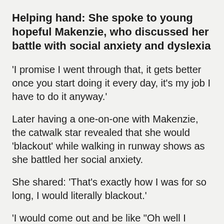Helping hand: She spoke to young hopeful Makenzie, who discussed her battle with social anxiety and dyslexia
'I promise I went through that, it gets better once you start doing it every day, it's my job I have to do it anyway.'
Later having a one-on-one with Makenzie, the catwalk star revealed that she would 'blackout' while walking in runway shows as she battled her social anxiety.
She shared: 'That's exactly how I was for so long, I would literally blackout.'
'I would come out and be like "Oh well I guess